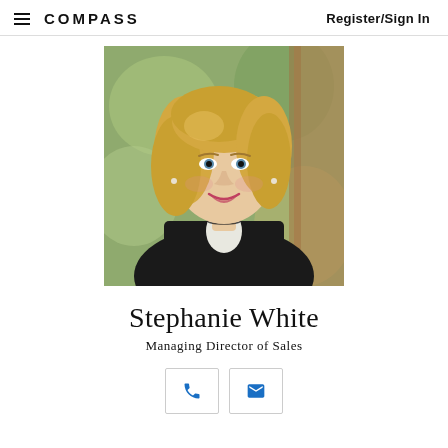COMPASS | Register/Sign In
[Figure (photo): Professional headshot of Stephanie White, a blonde woman smiling, wearing a black blazer, with a blurred green outdoor background]
Stephanie White
Managing Director of Sales
[Figure (infographic): Two contact buttons: a blue phone icon button and a blue email/envelope icon button]